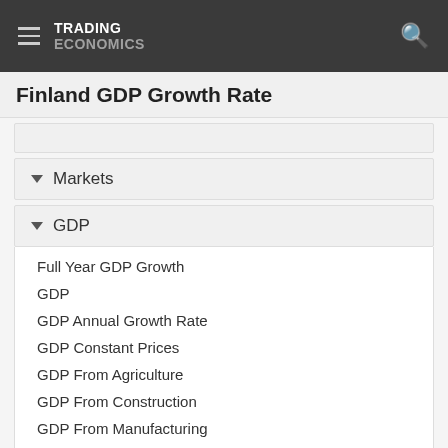TRADING ECONOMICS
Finland GDP Growth Rate
Markets
GDP
Full Year GDP Growth
GDP
GDP Annual Growth Rate
GDP Constant Prices
GDP From Agriculture
GDP From Construction
GDP From Manufacturing
GDP From Public Administration
GDP From Services
GDP From Transport
GDP From Utilities